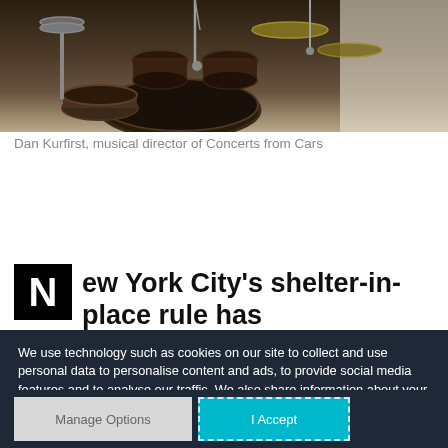[Figure (photo): Photograph of a drum kit, partially cropped, in sepia/dark tones with drum hardware visible]
Dan Kurfirst, musical director of Concerts from Cars
New York City's shelter-in-place rule has
We use technology such as cookies on our site to collect and use personal data to personalise content and ads, to provide social media features and to analyse our traffic. We also share information about your use of our site and interests with our partners who also use technologies such as cookies to collect and use personal data to personalise content and ads, to provide social media features and to analyse our traffic on our site and across the internet. You can always change your mind and revisit your choices.